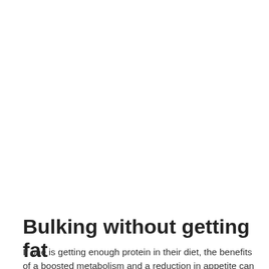Bulking without getting fat
If one is getting enough protein in their diet, the benefits of a boosted metabolism and a reduction in appetite can help lead to loss of